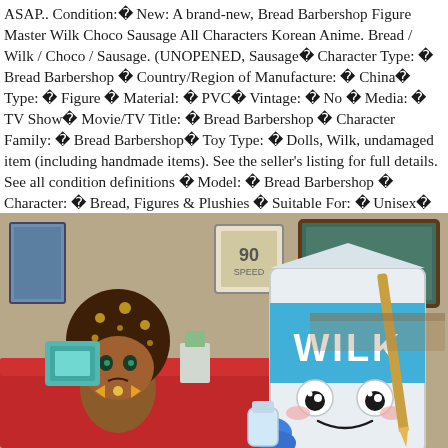ASAP.. Condition:ꀃ New: A brand-new, Bread Barbershop Figure Master Wilk Choco Sausage All Characters Korean Anime. Bread / Wilk / Choco / Sausage. (UNOPENED, Sausageꀃ Character Type: ꀃ Bread Barbershop ꀃ Country/Region of Manufacture: ꀃ Chinaꀃ Type: ꀃ Figure ꀃ Material: ꀃ PVCꀃ Vintage: ꀃ No ꀃ Media: ꀃ TV Showꀃ Movie/TV Title: ꀃ Bread Barbershop ꀃ Character Family: ꀃ Bread Barbershopꀃ Toy Type: ꀃ Dolls, Wilk, undamaged item (including handmade items). See the seller's listing for full details. See all condition definitions ꀃ Model: ꀃ Bread Barbershop ꀃ Character: ꀃ Bread, Figures & Plushies ꀃ Suitable For: ꀃ Unisexꀃ Brand: ꀃ Bread Barbershop ꀃ ꀃ.
[Figure (illustration): Animated scene from Bread Barbershop TV show showing two characters: a doll with a round chocolate bread head sitting at a red desk looking unhappy, and a milk carton character with a cute face holding a pencil/pointer, with a teal label reading WILK on front. Classroom-like background with green chalkboard and various items.]